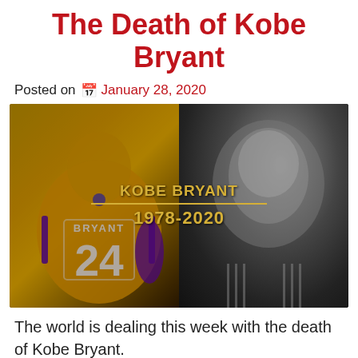The Death of Kobe Bryant
Posted on  January 28, 2020
[Figure (photo): Composite image showing Kobe Bryant in his Lakers #24 yellow jersey on the left (color photo, back view) and a black-and-white close-up portrait on the right, with gold text overlay reading 'KOBE BRYANT 1978-2020' in the center]
The world is dealing this week with the death of Kobe Bryant.